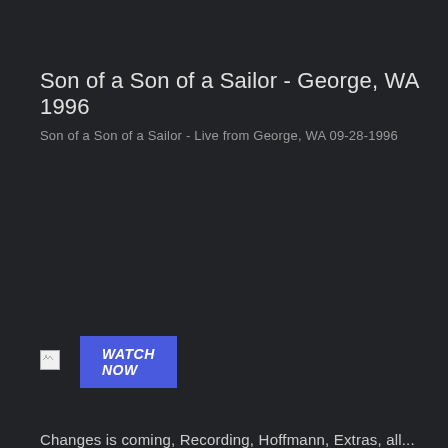Son of a Son of a Sailor - George, WA 1996
Son of a Son of a Sailor - Live from George, WA 09-28-1996
WATCH NOW
[Figure (photo): Broken image placeholder icon]
Changes is coming, Recording, Hoffmann, Extras, all...